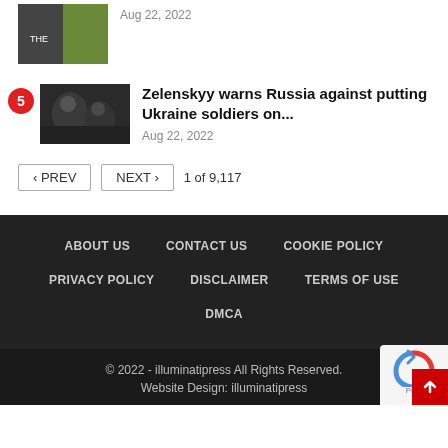[Figure (photo): Partial sports photo at top of page, two people visible]
Aug 22, 2022
5
[Figure (photo): Dark photo showing soldiers or figures in tunnels/cave]
Zelenskyy warns Russia against putting Ukraine soldiers on...
Aug 22, 2022
< PREV   NEXT >   1 of 9,117
ABOUT US   CONTACT US   COOKIE POLICY   PRIVACY POLICY   DISCLAIMER   TERMS OF USE   DMCA
© 2022 - illuminatipress All Rights Reserved.   Website Design: illuminatipress